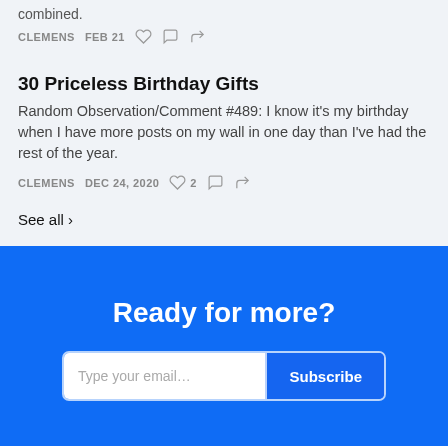combined.
CLEMENS   FEB 21
30 Priceless Birthday Gifts
Random Observation/Comment #489: I know it's my birthday when I have more posts on my wall in one day than I've had the rest of the year.
CLEMENS   DEC 24, 2020   ♡ 2
See all ›
Ready for more?
Type your email... Subscribe